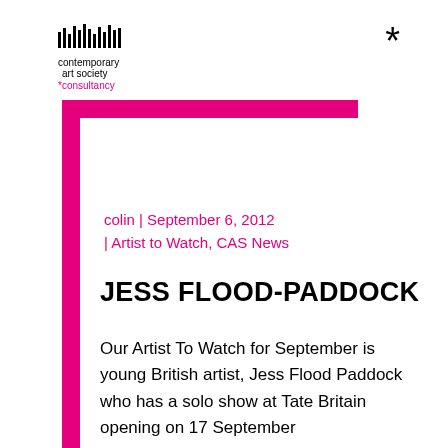[Figure (logo): Contemporary Art Society consultancy logo with barcode-style graphic bars above text]
*
colin | September 6, 2012 | Artist to Watch, CAS News
JESS FLOOD-PADDOCK
Our Artist To Watch for September is young British artist, Jess Flood Paddock who has a solo show at Tate Britain opening on 17 September